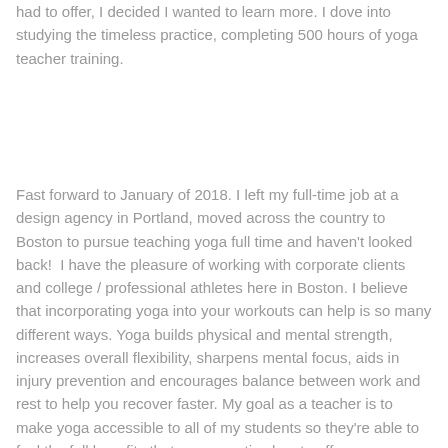had to offer, I decided I wanted to learn more. I dove into studying the timeless practice, completing 500 hours of yoga teacher training.
Fast forward to January of 2018. I left my full-time job at a design agency in Portland, moved across the country to Boston to pursue teaching yoga full time and haven't looked back!  I have the pleasure of working with corporate clients and college / professional athletes here in Boston. I believe that incorporating yoga into your workouts can help is so many different ways. Yoga builds physical and mental strength, increases overall flexibility, sharpens mental focus, aids in injury prevention and encourages balance between work and rest to help you recover faster. My goal as a teacher is to make yoga accessible to all of my students so they're able to feel the full benefits that yoga practice has to offer.